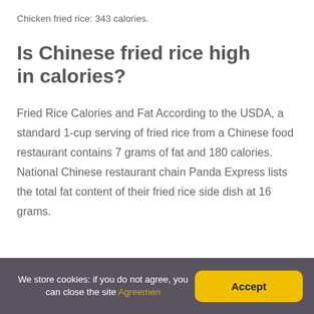Chicken fried rice: 343 calories.
Is Chinese fried rice high in calories?
Fried Rice Calories and Fat According to the USDA, a standard 1-cup serving of fried rice from a Chinese food restaurant contains 7 grams of fat and 180 calories. National Chinese restaurant chain Panda Express lists the total fat content of their fried rice side dish at 16 grams.
We store cookies: if you do not agree, you can close the site Agreemen